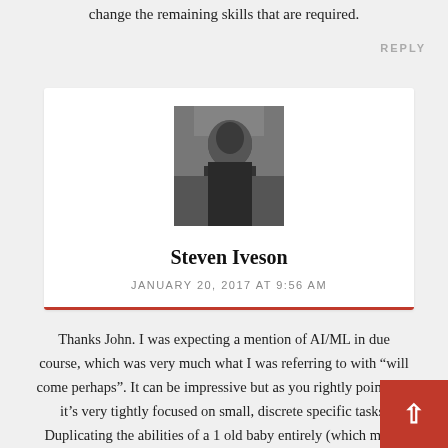change the remaining skills that are required.
REPLY
[Figure (photo): Black and white portrait photo of Steven Iveson]
Steven Iveson
JANUARY 20, 2017 AT 9:56 AM
Thanks John. I was expecting a mention of AI/ML in due course, which was very much what I was referring to with “will come perhaps”. It can be impressive but as you rightly point out, it’s very tightly focused on small, discrete specific tasks. Duplicating the abilities of a 1 old baby entirely (which might sound simple enough until you really think about it) is many decades away